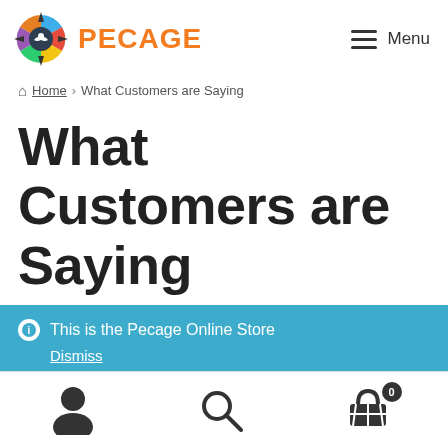[Figure (logo): Pecage compass logo with colorful segments and brand name PECAGE in orange]
Menu
Home › What Customers are Saying
What Customers are Saying
ℹ This is the Pecage Online Store
Dismiss
[Figure (infographic): Bottom toolbar with user icon, search icon, and cart icon with badge 0]